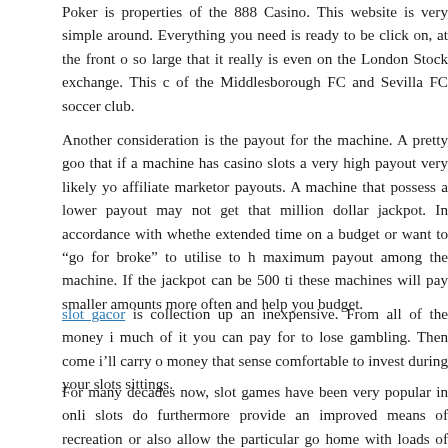Poker is properties of the 888 Casino. This website is very simple around. Everything you need is ready to be click on, at the front of so large that it really is even on the London Stock exchange. This ca of the Middlesborough FC and Sevilla FC soccer club.
Another consideration is the payout for the machine. A pretty goo that if a machine has casino slots a very high payout very likely you affiliate marketor payouts. A machine that possess a lower payout may not get that million dollar jackpot. In accordance with whethe extended time on a budget or want to "go for broke" to utilise to h maximum payout among the machine. If the jackpot can be 500 ti these machines will pay smaller amounts more often and help you budget.
slot gacor is collection up an inexpensive. From all of the money in much of it you can pay for to lose gambling. Then come i'll carry o money that sense comfortable to invest during your slots sittings.
For many decades now, slot games have been very popular in onli slots do furthermore provide an improved means of recreation or also allow the particular go home with loads of money after winnin